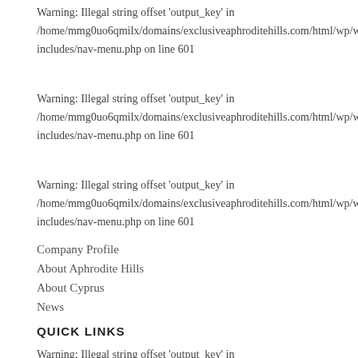Warning: Illegal string offset 'output_key' in /home/mmg0uo6qmilx/domains/exclusiveaphroditehills.com/html/wp/wp-includes/nav-menu.php on line 601
Warning: Illegal string offset 'output_key' in /home/mmg0uo6qmilx/domains/exclusiveaphroditehills.com/html/wp/wp-includes/nav-menu.php on line 601
Warning: Illegal string offset 'output_key' in /home/mmg0uo6qmilx/domains/exclusiveaphroditehills.com/html/wp/wp-includes/nav-menu.php on line 601
Company Profile
About Aphrodite Hills
About Cyprus
News
QUICK LINKS
Warning: Illegal string offset 'output_key' in